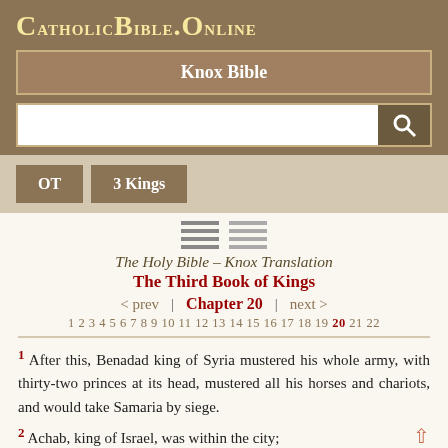CatholicBible.Online
Knox Bible
OT   3 Kings
The Holy Bible – Knox Translation
The Third Book of Kings
< prev  |  Chapter 20  |  next >
1 2 3 4 5 6 7 8 9 10 11 12 13 14 15 16 17 18 19 20 21 22
1 After this, Benadad king of Syria mustered his whole army, with thirty-two princes at its head, mustered all his horses and chariots, and would take Samaria by siege.
2 Achab, king of Israel, was within the city;